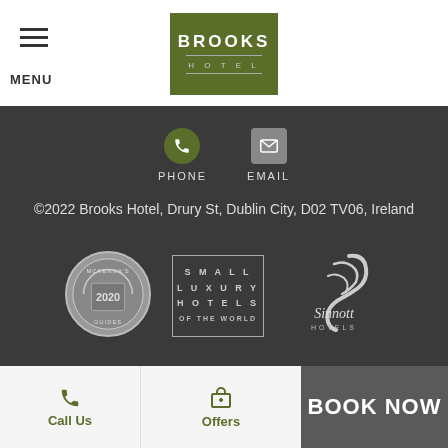BROOKS HOTEL — MENU
PHONE   EMAIL
©2022 Brooks Hotel, Drury St, Dublin City, D02 TV06, Ireland
[Figure (logo): McKenna's Guides Award 2020 badge (circular silver medal)]
[Figure (logo): Small Luxury Hotels of the World logo (rectangular border with text)]
[Figure (logo): Sinnott Hotels logo with swan graphic]
Call Us   Offers   BOOK NOW